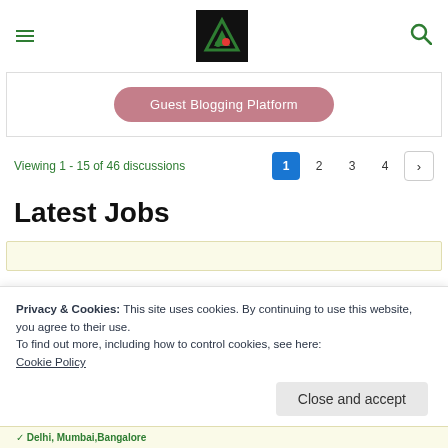[Figure (logo): Website logo with green triangle and letter A on black background, with hamburger menu icon on left and search icon on right]
[Figure (other): Pink rounded button labeled 'Guest Blogging Platform' inside a white bordered box]
Viewing 1 - 15 of 46 discussions
1 2 3 4 >
Latest Jobs
Privacy & Cookies: This site uses cookies. By continuing to use this website, you agree to their use.
To find out more, including how to control cookies, see here:
Cookie Policy
Close and accept
Delhi, Mumbai,Bangalore